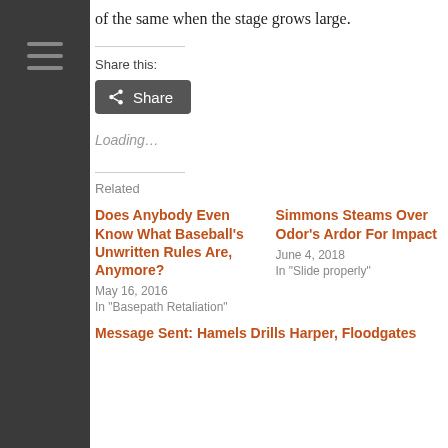of the same when the stage grows large.
Share this:
[Figure (other): Share button with share icon]
Loading...
Related
Does Anybody Even Know What Baseball's Unwritten Rules Are, Anymore?
May 16, 2016
In "Basepath Retaliation"
Simmons Steams Over Odor's Ardor For Impact
June 4, 2018
In "Slide properly"
Message Sent: Hamels Drills Harper, Floodgates